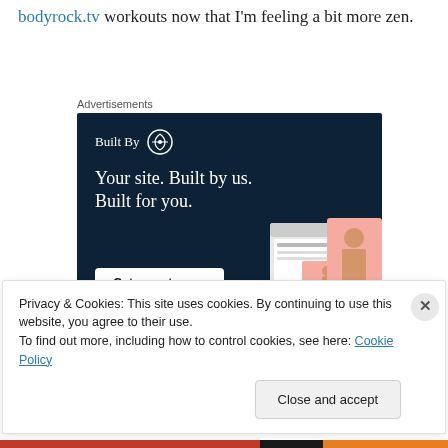bodyrock.tv workouts now that I'm feeling a bit more zen.
Advertisements
[Figure (illustration): WordPress 'Built By' advertisement banner with dark navy background. Shows WordPress logo, headline 'Your site. Built by us. Built for you.' with a 'Get a quote now' button and website mockup images on the right.]
Privacy & Cookies: This site uses cookies. By continuing to use this website, you agree to their use.
To find out more, including how to control cookies, see here: Cookie Policy
Close and accept